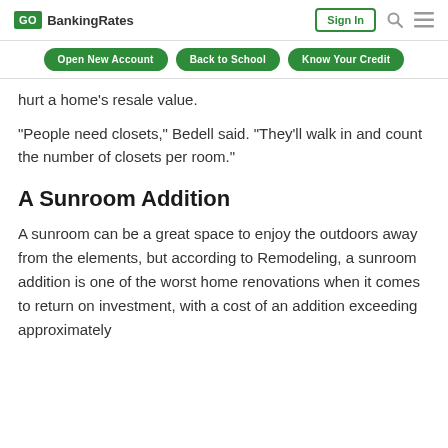GOBankingRates | Sign In
Open New Account | Back to School | Know Your Credit
hurt a home's resale value.
“People need closets,” Bedell said. “They’ll walk in and count the number of closets per room.”
A Sunroom Addition
A sunroom can be a great space to enjoy the outdoors away from the elements, but according to Remodeling, a sunroom addition is one of the worst home renovations when it comes to return on investment, with a cost of an addition exceeding approximately